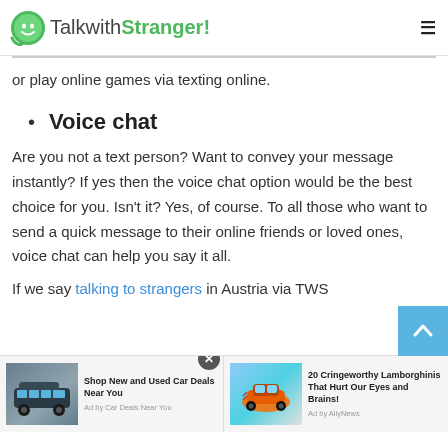TalkwithStranger!
or play online games via texting online.
Voice chat
Are you not a text person? Want to convey your message instantly? If yes then the voice chat option would be the best choice for you. Isn't it? Yes, of course. To all those who want to send a quick message to their online friends or loved ones, voice chat can help you say it all.
If we say talking to strangers in Austria via TWS
[Figure (screenshot): Advertisement bar with two ad units: 'Shop New and Used Car Deals Near You' by Car Deals Near You, and '20 Cringeworthy Lamborghinis That Hurt Our Eyes and Brains!' by AllyNews. Close button visible.]